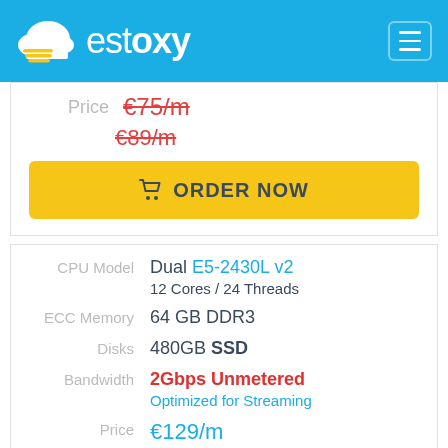estoxy
Price €75/m €89/m
ORDER NOW
| Spec | Value |
| --- | --- |
| CPU Model | Dual E5-2430L v2
12 Cores / 24 Threads |
| ECC Memory | 64 GB DDR3 |
| Disks | 480GB SSD |
| Bandwidth | 2Gbps Unmetered
Optimized for Streaming |
| Price | €129/m |